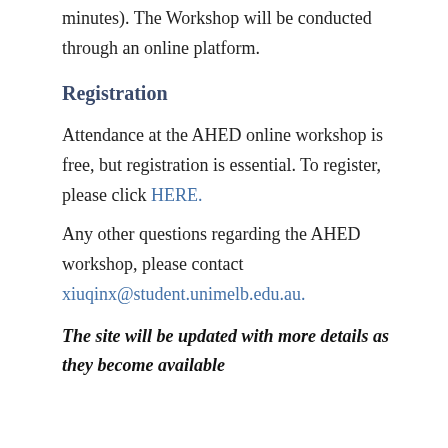minutes). The Workshop will be conducted through an online platform.
Registration
Attendance at the AHED online workshop is free, but registration is essential. To register, please click HERE.
Any other questions regarding the AHED workshop, please contact xiuqinx@student.unimelb.edu.au.
The site will be updated with more details as they become available